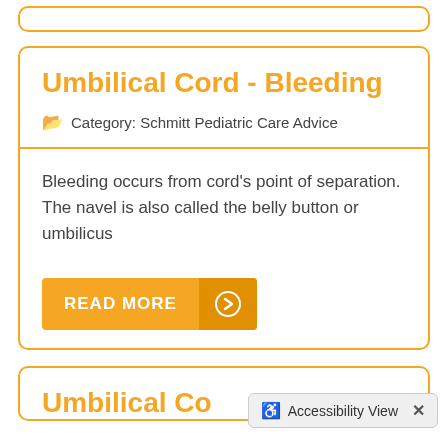Umbilical Cord - Bleeding
Category: Schmitt Pediatric Care Advice
Bleeding occurs from cord's point of separation. The navel is also called the belly button or umbilicus
READ MORE
Umbilical Co...